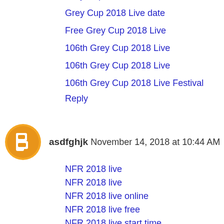Grey Cup 2018 Live Start time
Grey Cup 2018 Live date
Free Grey Cup 2018 Live
106th Grey Cup 2018 Live
106th Grey Cup 2018 Live
106th Grey Cup 2018 Live Festival
Reply
asdfghjk November 14, 2018 at 10:44 AM
NFR 2018 live
NFR 2018 live
NFR 2018 live online
NFR 2018 live free
NFR 2018 live start time